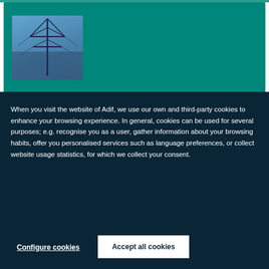[Figure (photo): Green banner background with a photo of an electrical power transmission tower/pylon against a blue sky]
When you visit the website of Adif, we use our own and third-party cookies to enhance your browsing experience. In general, cookies can be used for several purposes; e.g. recognise you as a user, gather information about your browsing habits, offer you personalised services such as language preferences, or collect website usage statistics, for which we collect your consent.
Configure cookies
Accept all cookies